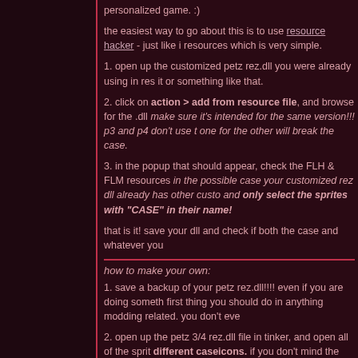personalized game. :)
the easiest way to go about this is to use resource hacker - just like i resources which is very simple.
1. open up the customized petz rez.dll you were already using in res it or something like that.
2. click on action > add from resource file, and browse for the .dll make sure it's intended for the same version!!! p3 and p4 don't use t one for the other will break the case.
3. in the popup that should appear, check the FLH & FLM resources in the possible case your customized rez dll already has other custo and only select the sprites with "CASE" in their name!
that is it! save your dll and check if both the case and whatever you
how to make your own:
1. save a backup of your petz rez.dll!!!! even if you are doing someth first thing you should do in anything modding related. you don't eve
2. open up the petz 3/4 rez.dll file in tinker, and open all of the sprit different caseicons. if you don't mind the standard blue buttons or n export every single frame in a place where you can easily find them
3. edit the images to your heart's content! the only thing you really h